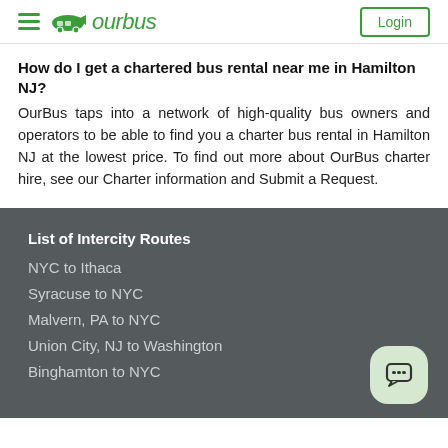OurBus — Login
How do I get a chartered bus rental near me in Hamilton NJ?
OurBus taps into a network of high-quality bus owners and operators to be able to find you a charter bus rental in Hamilton NJ at the lowest price. To find out more about OurBus charter hire, see our Charter information and Submit a Request.
List of Intercity Routes
NYC to Ithaca
Syracuse to NYC
Malvern, PA to NYC
Union City, NJ to Washington
Binghamton to NYC